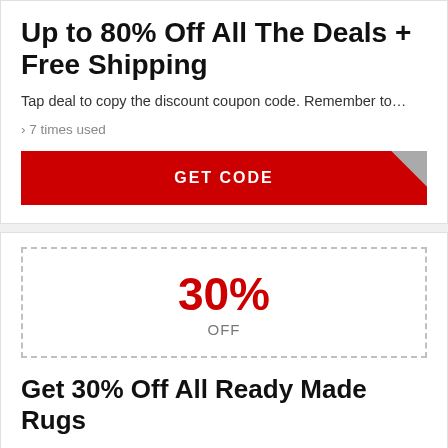Up to 80% Off All The Deals + Free Shipping
Tap deal to copy the discount coupon code. Remember to…
› 7 times used
GET CODE
[Figure (infographic): Coupon box with dashed border showing 30% OFF]
Get 30% Off All Ready Made Rugs
Tap offer to copy the voucher code. Remember to paste c…
› 7 times used
GET CODE